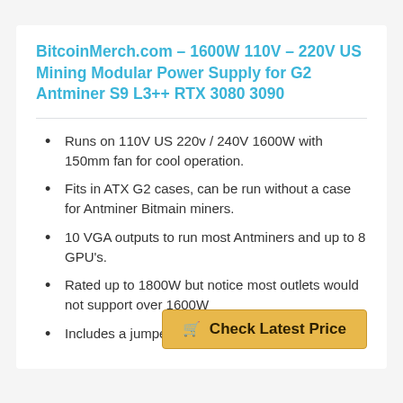BitcoinMerch.com – 1600W 110V – 220V US Mining Modular Power Supply for G2 Antminer S9 L3++ RTX 3080 3090
Runs on 110V US 220v / 240V 1600W with 150mm fan for cool operation.
Fits in ATX G2 cases, can be run without a case for Antminer Bitmain miners.
10 VGA outputs to run most Antminers and up to 8 GPU's.
Rated up to 1800W but notice most outlets would not support over 1600W
Includes a jumper for out of the box operation
Check Latest Price